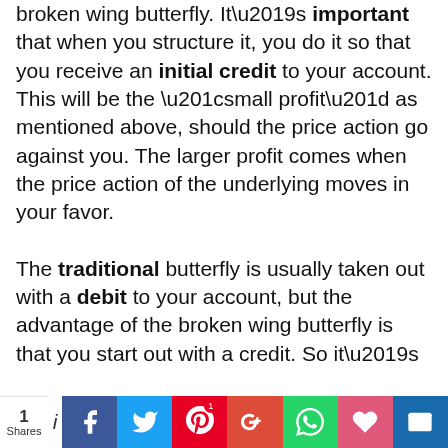broken wing butterfly. It's important that when you structure it, you do it so that you receive an initial credit to your account. This will be the “small profit” as mentioned above, should the price action go against you. The larger profit comes when the price action of the underlying moves in your favor.
The traditional butterfly is usually taken out with a debit to your account, but the advantage of the broken wing butterfly is that you start out with a credit. So it’s